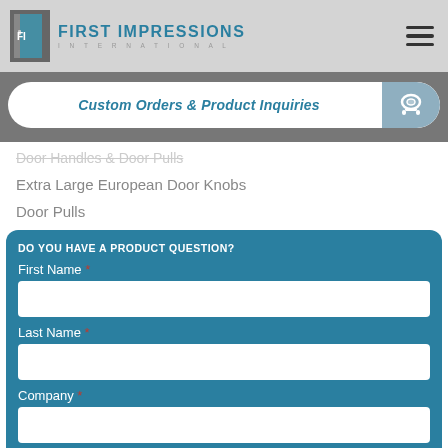[Figure (logo): First Impressions International logo with door icon and teal text]
Custom Orders & Product Inquiries
Door Handles & Door Pulls
Extra Large European Door Knobs
Door Pulls
DO YOU HAVE A PRODUCT QUESTION?
First Name *
Last Name *
Company *
Email *